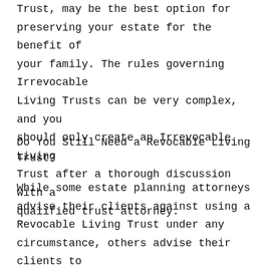Trust, may be the best option for preserving your estate for the benefit of your family. The rules governing Irrevocable Living Trusts can be very complex, and you should only create an Irrevocable Living Trust after a thorough discussion with a qualified trust attorney.
Do You Still Need a Revocable Living Trust?
While some estate planning attorneys advise their clients against using a Revocable Living Trust under any circumstance, others advise their clients to use one under every circumstance. Either approach fails to take into consideration the fact that Revocable Living Trusts are